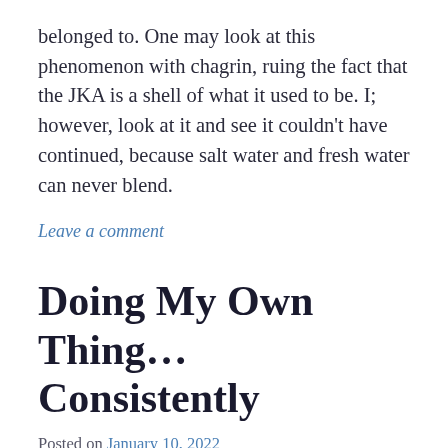belonged to. One may look at this phenomenon with chagrin, ruing the fact that the JKA is a shell of what it used to be. I; however, look at it and see it couldn't have continued, because salt water and fresh water can never blend.
Leave a comment
Doing My Own Thing… Consistently
Posted on January 10, 2022
The other day, I was pondering on my reflections of the horrific images of the 2011 earthquake and subsequent tsunami, that befell Northeastern Japan.